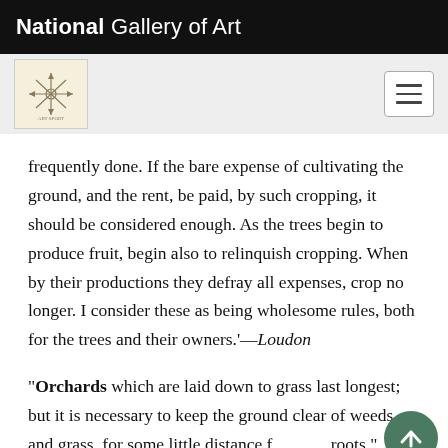National Gallery of Art
frequently done. If the bare expense of cultivating the ground, and the rent, be paid, by such cropping, it should be considered enough. As the trees begin to produce fruit, begin also to relinquish cropping. When by their productions they defray all expenses, crop no longer. I consider these as being wholesome rules, both for the trees and their owners.'—Loudon
“Orchards which are laid down to grass last longest; but it is necessary to keep the ground clear of weeds and grass, for some little distance from the roots.”